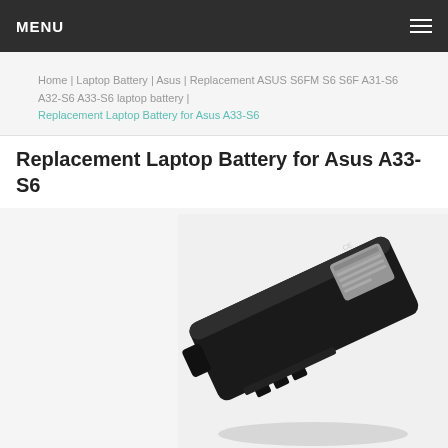MENU
Home | Laptop Battery | Asus | Replacement ASUS S6FM S6 S6F A31-S6 A32-S6 A33-S6 laptop battery | Replacement Laptop Battery for Asus A33-S6
Replacement Laptop Battery for Asus A33-S6
[Figure (photo): A black replacement laptop battery for Asus A33-S6, shown at an angle on a white background, with a label on the side.]